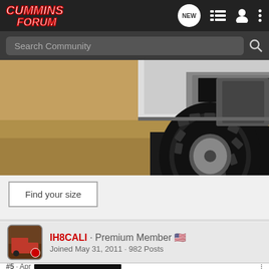[Figure (screenshot): Cummins Forum website navigation bar with logo, NEW message icon, list icon, profile icon, and more options icon]
[Figure (screenshot): Search Community input bar with search icon]
[Figure (photo): Close-up photo of a truck tire on sandy/dirt terrain with the undercarriage visible]
Find your size
IH8CALI · Premium Member 🇺🇸
Joined May 31, 2011 · 982 Posts
#5 · Apr
[Figure (screenshot): Diesel Auto Power .com advertisement banner with blue text on dark background]
I was ju ave all